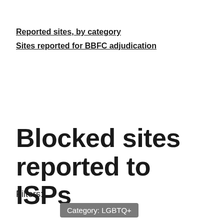Reported sites, by category
Sites reported for BBFC adjudication
Blocked sites reported to ISPs
Filters:
Category: LGBTQ+